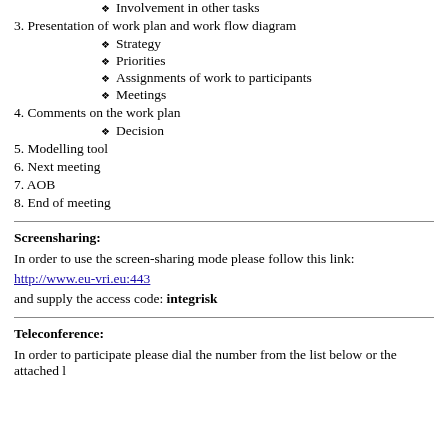Involvement in other tasks
3. Presentation of work plan and work flow diagram
Strategy
Priorities
Assignments of work to participants
Meetings
4. Comments on the work plan
Decision
5. Modelling tool
6. Next meeting
7. AOB
8. End of meeting
Screensharing:
In order to use the screen-sharing mode please follow this link:
http://www.eu-vri.eu:443
and supply the access code: integrisk
Teleconference:
In order to participate please dial the number from the list below or the attached l